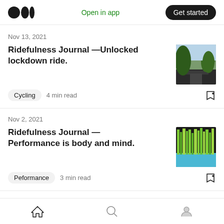Medium logo | Open in app | Get started
Nov 13, 2021
Ridefulness Journal —Unlocked lockdown ride.
[Figure (photo): Road through trees thumbnail]
Cycling  4 min read
Nov 2, 2021
Ridefulness Journal — Performance is body and mind.
[Figure (photo): Abstract green vertical lines on blue background thumbnail]
Peformance  3 min read
Home | Search | Profile